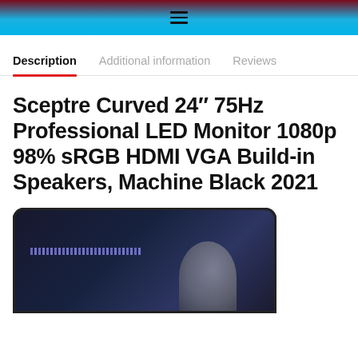≡
Description | Additional information | Reviews
Sceptre Curved 24″ 75Hz Professional LED Monitor 1080p 98% sRGB HDMI VGA Build-in Speakers, Machine Black 2021
[Figure (photo): Partial bottom view of a Sceptre curved 24-inch monitor showing a dark curved screen with a purple/blue LED light bar and a reflected figure in the foreground.]